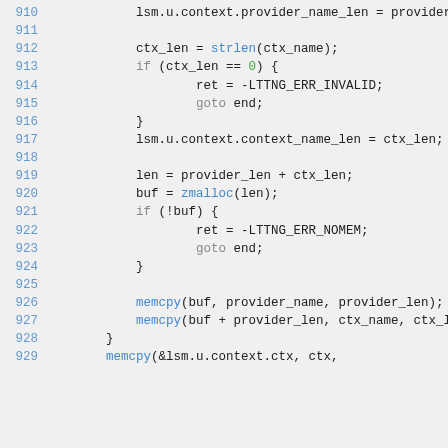[Figure (screenshot): Source code listing showing C code lines 910-929 with syntax highlighting. Line numbers in blue on left, keywords in gray, function calls in blue, numeric literals in green.]